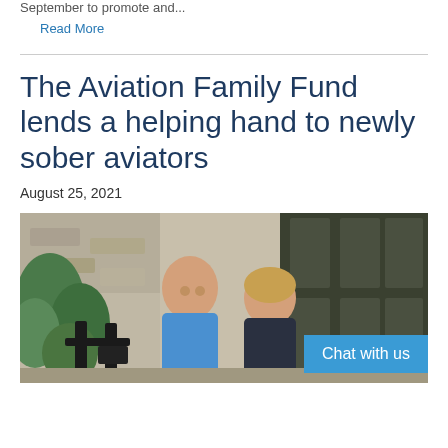September to promote and...
Read More
The Aviation Family Fund lends a helping hand to newly sober aviators
August 25, 2021
[Figure (photo): Two people sitting together on a porch or outdoor seating area, smiling at the camera. They are wearing blue polo shirts. Behind them are black rocking chairs and a stone/brick building exterior with greenery.]
Chat with us